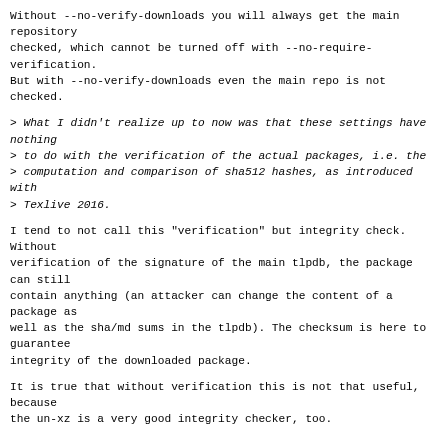Without --no-verify-downloads you will always get the main repository
checked, which cannot be turned off with --no-require-verification.
But with --no-verify-downloads even the main repo is not checked.
> What I didn't realize up to now was that these settings have nothing
> to do with the verification of the actual packages, i.e. the
> computation and comparison of sha512 hashes, as introduced with
> Texlive 2016.
I tend to not call this "verification" but integrity check. Without
verification of the signature of the main tlpdb, the package can still
contain anything (an attacker can change the content of a package as
well as the sha/md sums in the tlpdb). The checksum is here to guarantee
integrity of the downloaded package.
It is true that without verification this is not that useful, because
the un-xz is a very good integrity checker, too.